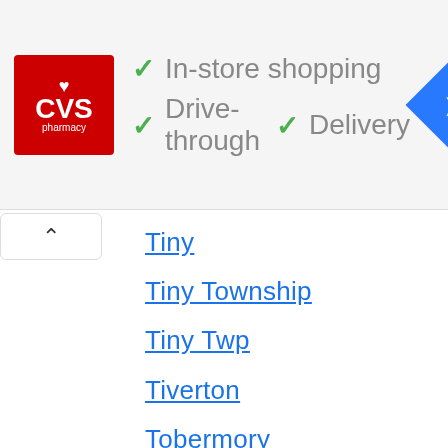[Figure (infographic): CVS Pharmacy advertisement banner showing logo and store features: In-store shopping, Drive-through, Delivery. Includes a navigation/directions icon on the right.]
Tiny
Tiny Township
Tiny Twp
Tiverton
Tobermory
Toronto
Township Of Chatsworth
Township Of Georgian Bluffs
Trent Hills
Trent Lakes
Trenton
Turkey Point
Tweed